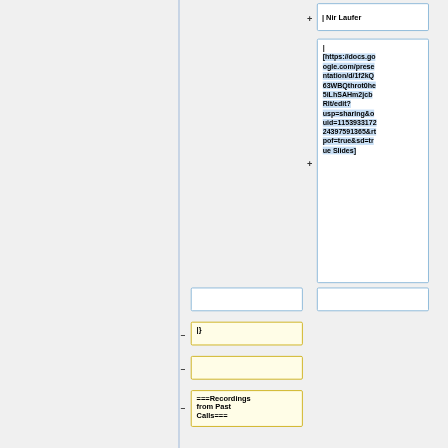| Nir Laufer
| [https://docs.google.com/presentation/d/1f2kQ63WBQthrot0he5iLhSAHm2jcbRlt/edit?usp=sharing&ouid=115393317224397591365&rtpof=true&sd=true Slides]
|}
===Recordings from Past Calls===